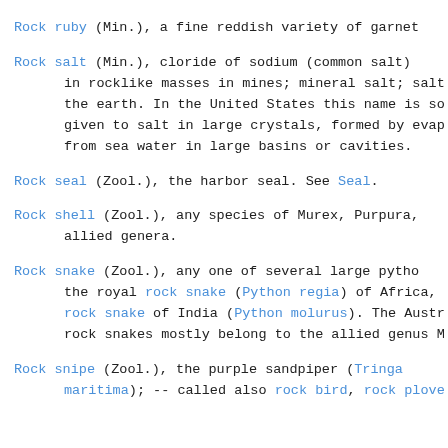Rock ruby (Min.), a fine reddish variety of garnet
Rock salt (Min.), cloride of sodium (common salt) in rocklike masses in mines; mineral salt; salt the earth. In the United States this name is so given to salt in large crystals, formed by evap from sea water in large basins or cavities.
Rock seal (Zool.), the harbor seal. See Seal.
Rock shell (Zool.), any species of Murex, Purpura, allied genera.
Rock snake (Zool.), any one of several large pytho the royal rock snake (Python regia) of Africa, rock snake of India (Python molurus). The Austr rock snakes mostly belong to the allied genus M
Rock snipe (Zool.), the purple sandpiper (Tringa maritima); -- called also rock bird, rock plove